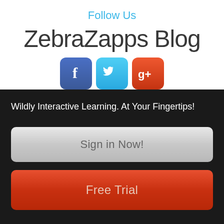Follow Us
ZebraZapps Blog
[Figure (illustration): Three social media icons: Facebook (blue rounded square with f), Twitter (light blue rounded square with bird), Google+ (red rounded square with g+)]
Wildly Interactive Learning. At Your Fingertips!
Sign in Now!
Free Trial
About